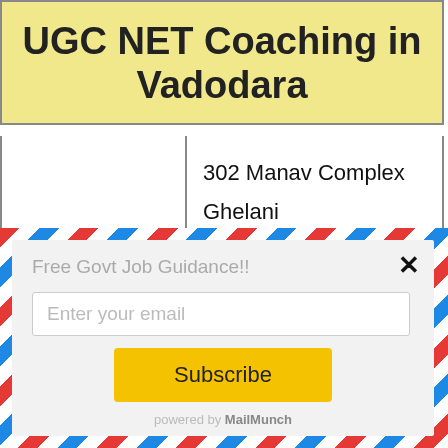UGC NET Coaching in Vadodara
| Address | 302 Manav Complex Ghelani Petrol Pump, Nizampura, Vadodara, Gujarat 390002 |
| --- | --- |
[Figure (screenshot): Email subscription popup with airmail border, heading 'Free Govt Job Guidance!!', email input field, Subscribe button, and powered by MailMunch footer.]